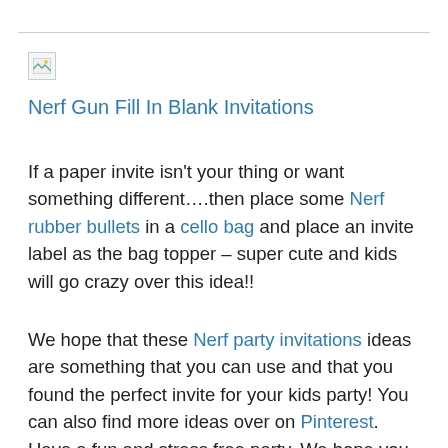[Figure (other): Broken image placeholder icon]
Nerf Gun Fill In Blank Invitations
If a paper invite isn't your thing or want something different….then place some Nerf rubber bullets in a cello bag and place an invite label as the bag topper – super cute and kids will go crazy over this idea!!
We hope that these Nerf party invitations ideas are something that you can use and that you found the perfect invite for your kids party! You can also find more ideas over on Pinterest. Have a fun and stress free party. We hope you and the children enjoy the